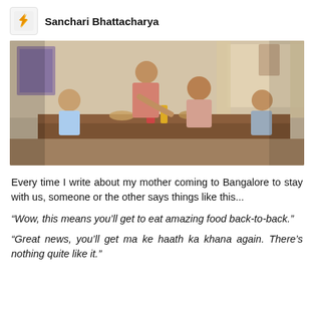Sanchari Bhattacharya
[Figure (photo): A family scene around a dining table — a woman serving food to children and a man seated, in a warm Indian home interior setting.]
Every time I write about my mother coming to Bangalore to stay with us, someone or the other says things like this...
“Wow, this means you’ll get to eat amazing food back-to-back.”
“Great news, you’ll get ma ke haath ka khana again. There’s nothing quite like it.”